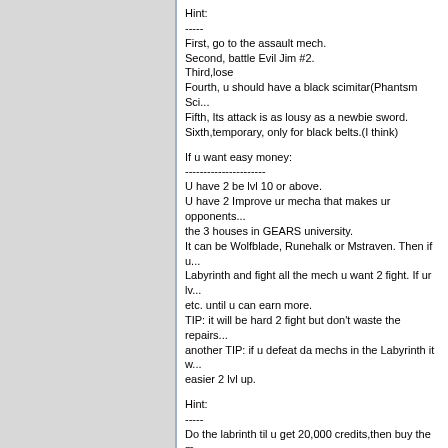Hint:
-----
First, go to the assault mech.
Second, battle Evil Jim #2.
Third,lose
Fourth, u should have a black scimitar(Phantsm Sci...
Fifth, Its attack is as lousy as a newbie sword.
Sixth,temporary, only for black belts.(I think)
If u want easy money:
----------------------
U have 2 be lvl 10 or above.
U have 2 Improve ur mecha that makes ur opponents... the 3 houses in GEARS university.
It can be Wolfblade, Runehalk or Mstraven. Then if u... Labyrinth and fight all the mech u want 2 fight. If ur lv... etc. until u can earn more.
TIP: it will be hard 2 fight but don't waste the repairs...
another TIP: if u defeat da mechs in the Labyrinth it w... easier 2 lvl up.
Hint:
-----
Do the labrinth til u get 20,000 credits,then buy the m... labyrinth u will get 400 per battle.
Verse me my code is 440778 SEEZYAS
Hint:
-----
When you go to the star captains club,first go to the a... "Assault Mecha.then,type #2 then click Battle By ID#... Warlic.use what ever you have and then attack him a... will lose,then see the glowing scythe? It means you h... Light's Blades.